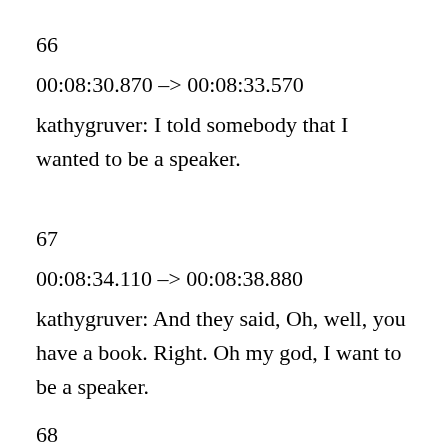66
00:08:30.870 –> 00:08:33.570
kathygruver: I told somebody that I wanted to be a speaker.
67
00:08:34.110 –> 00:08:38.880
kathygruver: And they said, Oh, well, you have a book. Right. Oh my god, I want to be a speaker.
68